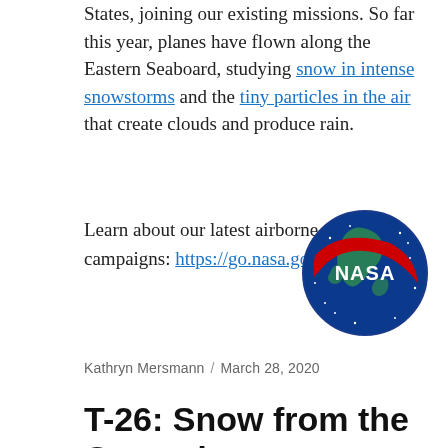States, joining our existing missions. So far this year, planes have flown along the Eastern Seaboard, studying snow in intense snowstorms and the tiny particles in the air that create clouds and produce rain.
Learn about our latest airborne science campaigns: https://go.nasa.gov/2wico8F
[Figure (logo): NASA meatball logo — dark blue circular background with stars, green land masses, red swoosh diagonal across the circle, and white NASA lettering]
Kathryn Mersmann / March 28, 2020
T-26: Snow from the Ground